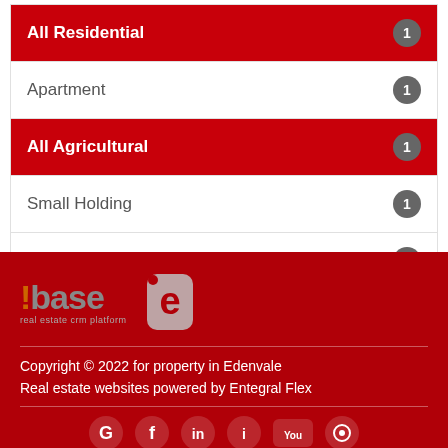All Residential — 1
Apartment — 1
All Agricultural — 1
Small Holding — 1
All Property Types — 2
[Figure (logo): base real estate crm platform logo and Entegral e-logo]
Copyright © 2022 for property in Edenvale
Real estate websites powered by Entegral Flex
[Figure (other): Social media icons: Google, Facebook, LinkedIn, Instagram, YouTube, and another icon on dark red footer]